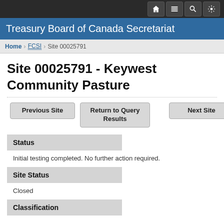Treasury Board of Canada Secretariat
Home > FCSI > Site 00025791
Site 00025791 - Keywest Community Pasture
Previous Site | Return to Query Results | Next Site
Status
Initial testing completed. No further action required.
Site Status
Closed
Classification